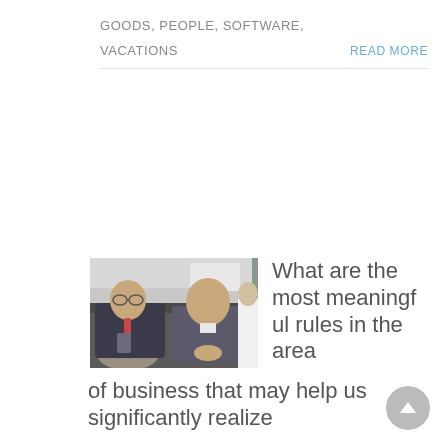GOODS, PEOPLE, SOFTWARE,
VACATIONS
READ MORE
[Figure (photo): Two Asian men in suits sitting on a subway/train. The man on the left wears glasses and holds a phone; the man on the right has his hands clasped. A bag sits in the foreground.]
What are the most meaningful rules in the area of business that may help us significantly realize